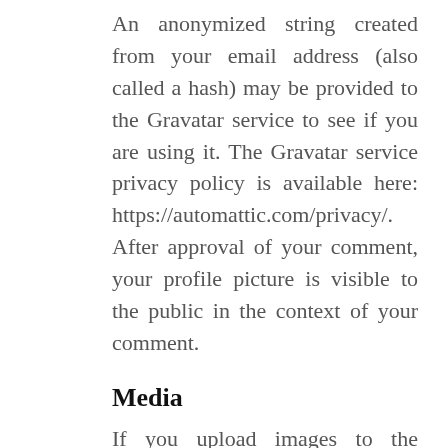An anonymized string created from your email address (also called a hash) may be provided to the Gravatar service to see if you are using it. The Gravatar service privacy policy is available here: https://automattic.com/privacy/. After approval of your comment, your profile picture is visible to the public in the context of your comment.
Media
If you upload images to the website, you should avoid uploading images with embedded location data (EXIF GPS)